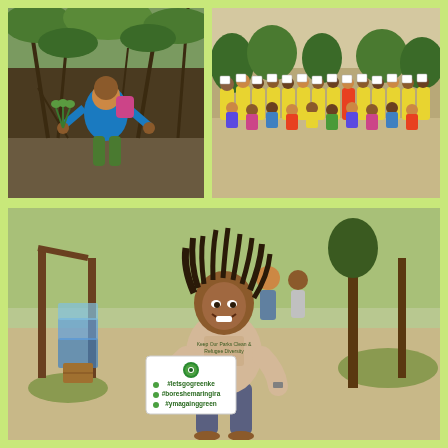[Figure (photo): A man crouching in a mangrove area, holding mangrove seedlings/saplings in his hands, surrounded by mangrove roots and muddy ground with green foliage above.]
[Figure (photo): A large group of people standing in a line outdoors, many wearing yellow/green safety vests, holding white signs/placards, in a sandy outdoor area with trees in the background.]
[Figure (photo): A smiling woman standing outdoors under a rustic shelter made of wooden poles, wearing a beige t-shirt with text about environmental conservation, holding a white sign with green text reading #letsgogreenke #boreshemaringira #ymagainggreen with a green eye/leaf logo. Behind her are stacked water bottles and supplies. She is barefoot on sandy ground with grass and trees visible.]